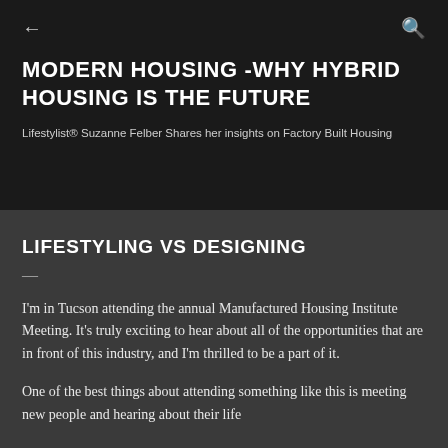← (back) | (search)
MODERN HOUSING -WHY HYBRID HOUSING IS THE FUTURE
Lifestylist® Suzanne Felber Shares her insights on Factory Built Housing
LIFESTYLING VS DESIGNING
I'm in Tucson attending the annual Manufactured Housing Institute Meeting. It's truly exciting to hear about all of the opportunities that are in front of this industry, and I'm thrilled to be a part of it.
One of the best things about attending something like this is meeting new people and hearing about their life